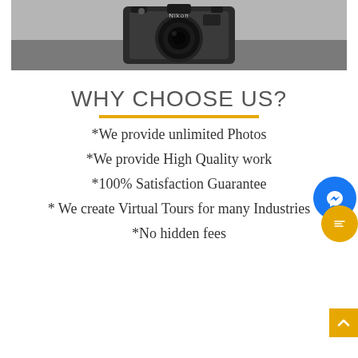[Figure (photo): A Nikon film camera on a textured grey surface, viewed from above/front. Black and silver camera body with lens visible.]
WHY CHOOSE US?
*We provide unlimited Photos
*We provide High Quality work
*100% Satisfaction Guarantee
* We create Virtual Tours for many Industries
*No hidden fees